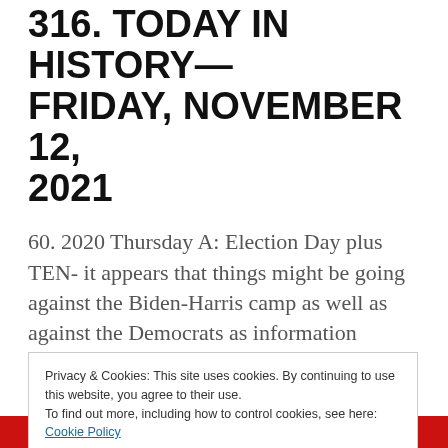316. TODAY IN HISTORY— FRIDAY, NOVEMBER 12, 2021
60. 2020 Thursday A: Election Day plus TEN- it appears that things might be going against the Biden-Harris camp as well as against the Democrats as information continues flowing in about how the election fraud and theft was engineered. First more dead people
Privacy & Cookies: This site uses cookies. By continuing to use this website, you agree to their use.
To find out more, including how to control cookies, see here:
Cookie Policy

Close and accept